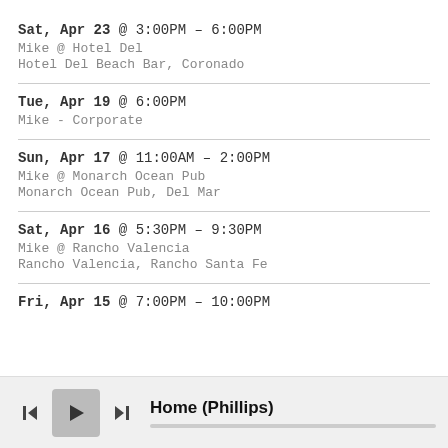Sat, Apr 23 @ 3:00PM - 6:00PM
Mike @ Hotel Del
Hotel Del Beach Bar, Coronado
Tue, Apr 19 @ 6:00PM
Mike - Corporate
Sun, Apr 17 @ 11:00AM - 2:00PM
Mike @ Monarch Ocean Pub
Monarch Ocean Pub, Del Mar
Sat, Apr 16 @ 5:30PM - 9:30PM
Mike @ Rancho Valencia
Rancho Valencia, Rancho Santa Fe
Fri, Apr 15 @ 7:00PM - 10:00PM
Home (Phillips)